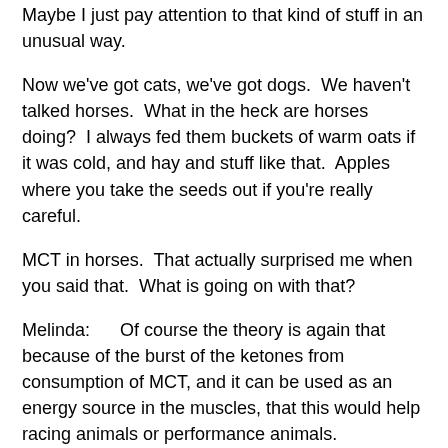Maybe I just pay attention to that kind of stuff in an unusual way.
Now we've got cats, we've got dogs.  We haven't talked horses.  What in the heck are horses doing?  I always fed them buckets of warm oats if it was cold, and hay and stuff like that.  Apples where you take the seeds out if you're really careful.
MCT in horses.  That actually surprised me when you said that.  What is going on with that?
Melinda:      Of course the theory is again that because of the burst of the ketones from consumption of MCT, and it can be used as an energy source in the muscles, that this would help racing animals or performance animals.
Because the data. That actually all happened in a t...